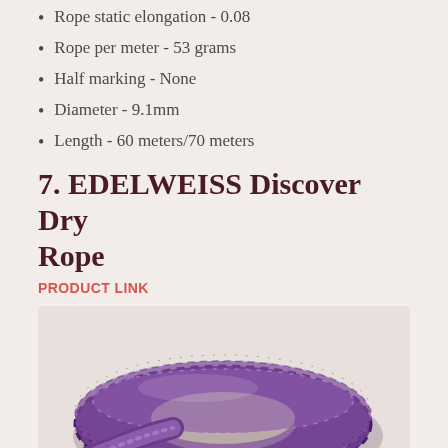Rope static elongation - 0.08
Rope per meter - 53 grams
Half marking - None
Diameter - 9.1mm
Length - 60 meters/70 meters
7. EDELWEISS Discover Dry Rope
PRODUCT LINK
[Figure (photo): Coiled purple/violet braided climbing rope on a light background]